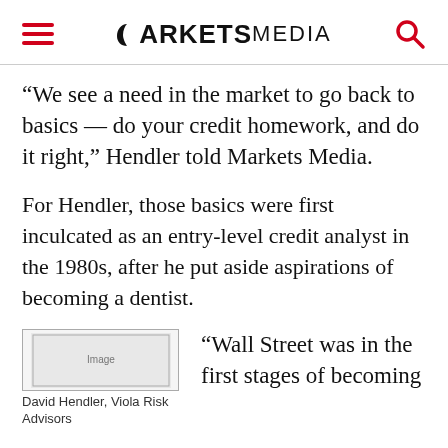MARKETS MEDIA
“We see a need in the market to go back to basics — do your credit homework, and do it right,” Hendler told Markets Media.
For Hendler, those basics were first inculcated as an entry-level credit analyst in the 1980s, after he put aside aspirations of becoming a dentist.
[Figure (photo): Photo of David Hendler, Viola Risk Advisors]
David Hendler, Viola Risk Advisors
“Wall Street was in the first stages of becoming